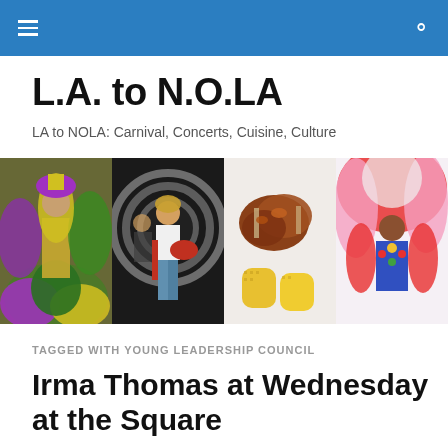L.A. to N.O.LA navigation bar with hamburger menu and search icon
L.A. to N.O.LA
LA to NOLA: Carnival, Concerts, Cuisine, Culture
[Figure (photo): Four-panel image strip showing: (1) colorful Mardi Gras costume in purple, green, gold; (2) musician playing guitar at concert; (3) food plate with chicken and corn on the cob; (4) elaborately costumed Mardi Gras Indian in red and blue]
TAGGED WITH YOUNG LEADERSHIP COUNCIL
Irma Thomas at Wednesday at the Square